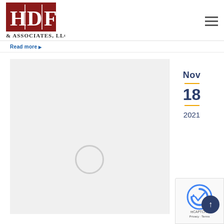[Figure (logo): HDF & Associates, LLC logo — red square with white serif H, D, F letters separated by vertical lines, with '& Associates, LLC' text below in dark color]
Read more ▶
[Figure (other): Light gray card/article preview area with loading spinner circle, and a date sidebar showing Nov 18 2021 in dark blue with gold divider lines]
Nov
18
2021
[Figure (other): reCAPTCHA badge overlay in bottom right corner with reCAPTCHA icon, Privacy and Terms links, and a dark blue scroll-to-top arrow button]